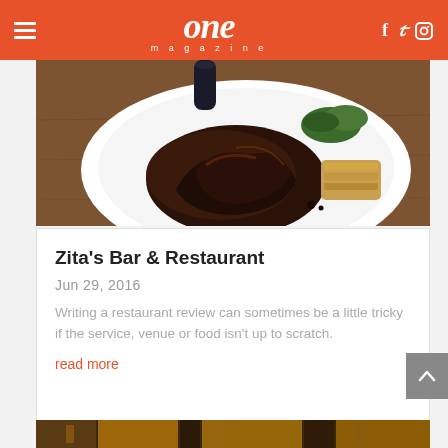one magazine
[Figure (photo): A white plate with braised or glazed meat (dark glazed ribs or oxtail), garnished with greens and a side of potato gratin or hash browns, on a wooden table surface.]
Zita's Bar & Restaurant
Jun 29, 2016
Writing a restaurant review can sometimes be a little tricky if the service, venue or food isn't up to scratch.
read more
[Figure (photo): Partial view of a restaurant interior with warm amber lighting and decorative elements visible at the bottom of the page.]